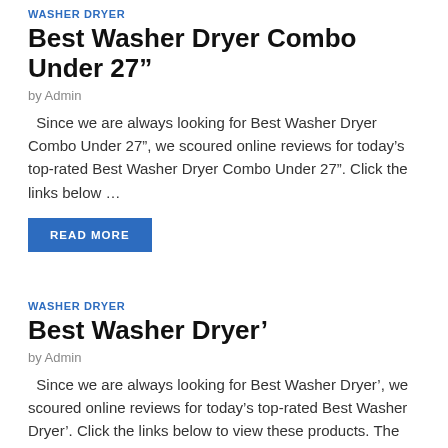WASHER DRYER
Best Washer Dryer Combo Under 27”
by Admin
Since we are always looking for Best Washer Dryer Combo Under 27”, we scoured online reviews for today’s top-rated Best Washer Dryer Combo Under 27”. Click the links below …
READ MORE
WASHER DRYER
Best Washer Dryer’
by Admin
Since we are always looking for Best Washer Dryer’, we scoured online reviews for today’s top-rated Best Washer Dryer’. Click the links below to view these products. The soft and ...